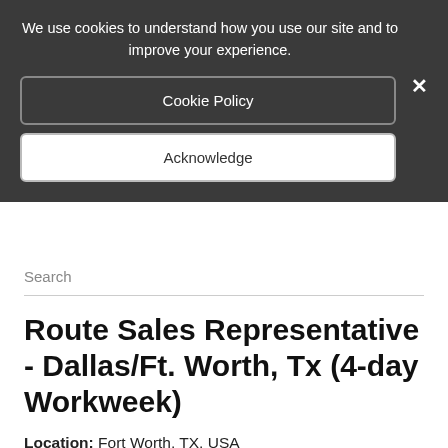We use cookies to understand how you use our site and to improve your experience.
Cookie Policy
Acknowledge
Search
Route Sales Representative - Dallas/Ft. Worth, Tx (4-day Workweek)
Location: Fort Worth, TX, USA
NOTICE
This position is no longer open.